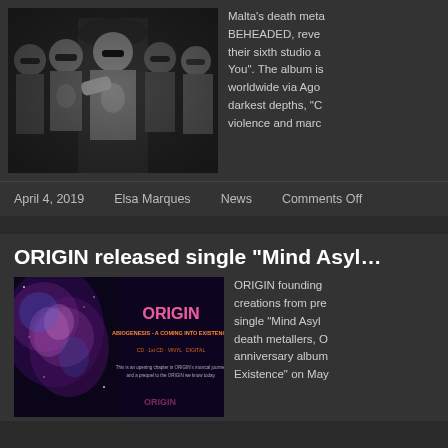[Figure (photo): Black and white photo of five members of death metal band BEHEADED posing together]
Malta's death meta BEHEADED, reve their sixth studio a You". The album is worldwide via Ago darkest depths, "C violence and marc
April 4, 2019   Elsa Marques   News   Comments Off
ORIGIN released single “Mind Asyl…
[Figure (photo): ORIGIN Abiogenesis album cover - dark space nebula on left, album artwork with ORIGIN logo and text 'ABIOGENESIS - A COMING INTO EXISTENCE', CD/1st CD/VINYL/DIGITAL formats listed]
ORIGIN founding creations from pre single “Mind Asyl death metallers, O anniversary album Existence” on May